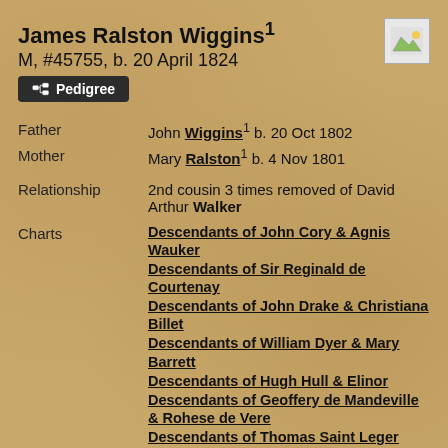James Ralston Wiggins¹
M, #45755, b. 20 April 1824
Pedigree
Father   John Wiggins¹ b. 20 Oct 1802
Mother   Mary Ralston¹ b. 4 Nov 1801
Relationship   2nd cousin 3 times removed of David Arthur Walker
Charts   Descendants of John Cory & Agnis Wauker
Descendants of Sir Reginald de Courtenay
Descendants of John Drake & Christiana Billet
Descendants of William Dyer & Mary Barrett
Descendants of Hugh Hull & Elinor
Descendants of Geoffery de Mandeville & Rohese de Vere
Descendants of Thomas Saint Leger
Descendants of William White &